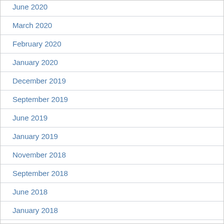June 2020
March 2020
February 2020
January 2020
December 2019
September 2019
June 2019
January 2019
November 2018
September 2018
June 2018
January 2018
December 2017
November 2017
October 2017